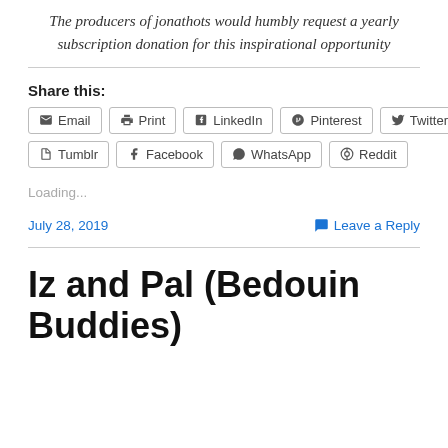The producers of jonathots would humbly request a yearly subscription donation for this inspirational opportunity
Share this:
[Figure (other): Social sharing buttons: Email, Print, LinkedIn, Pinterest, Twitter, Tumblr, Facebook, WhatsApp, Reddit]
Loading...
July 28, 2019
Leave a Reply
Iz and Pal (Bedouin Buddies)